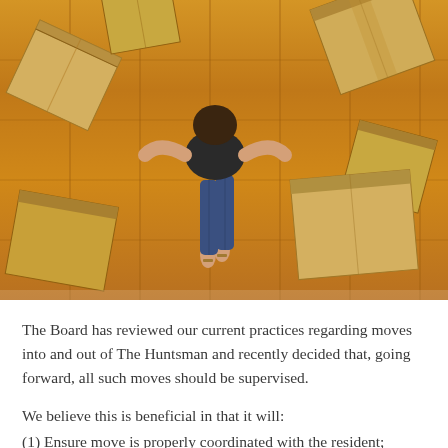[Figure (photo): Overhead view of a wooden floor with a person standing among several cardboard moving boxes scattered around them]
The Board has reviewed our current practices regarding moves into and out of The Huntsman and recently decided that, going forward, all such moves should be supervised.
We believe this is beneficial in that it will:
(1) Ensure move is properly coordinated with the resident;
(2) Improve building security during the move; and
(3) Allow us to independently identify any damage to common property that may occur during the move.